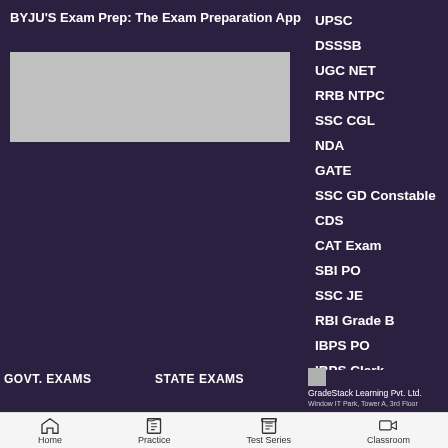BYJU'S Exam Prep: The Exam Preparation App
[Figure (screenshot): Gray image placeholder on dark purple background]
UPSC
DSSSB
UGC NET
RRB NTPC
SSC CGL
NDA
GATE
SSC GD Constable
CDS
CAT Exam
SBI PO
SSC JE
RBI Grade B
IBPS PO
IBPS Clerk
CLAT Exam
GOVT. EXAMS
STATE EXAMS
GradeStack Learning Pvt. Ltd.
Window IT Park, Tower A, 3rd Floor...
Home | Practice | Test Series | Classroom